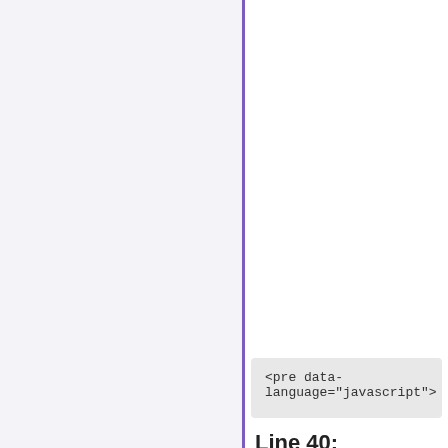(left panel - navigation/sidebar area, mostly empty)
<pre data-language="javascript">
Line 40:
Update Tips:
(empty code box)
It might be better to just use [[Tim]]'s whisper script and throw an extra flag in it - I th that already reconstructs in